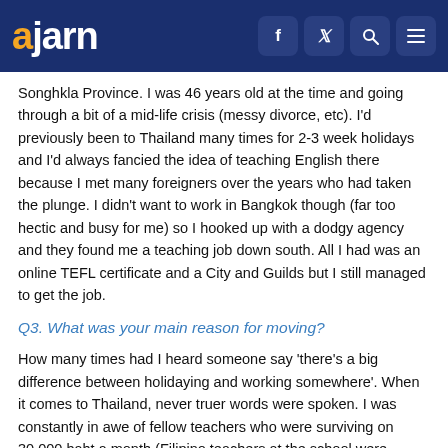ajarn
Songhkla Province. I was 46 years old at the time and going through a bit of a mid-life crisis (messy divorce, etc). I'd previously been to Thailand many times for 2-3 week holidays and I'd always fancied the idea of teaching English there because I met many foreigners over the years who had taken the plunge. I didn't want to work in Bangkok though (far too hectic and busy for me) so I hooked up with a dodgy agency and they found me a teaching job down south. All I had was an online TEFL certificate and a City and Guilds but I still managed to get the job.
Q3. What was your main reason for moving?
How many times had I heard someone say 'there's a big difference between holidaying and working somewhere'. When it comes to Thailand, never truer words were spoken. I was constantly in awe of fellow teachers who were surviving on 30,000 baht a month (Filipino teachers at the school were scraping by on even less) and I found myself dinning more